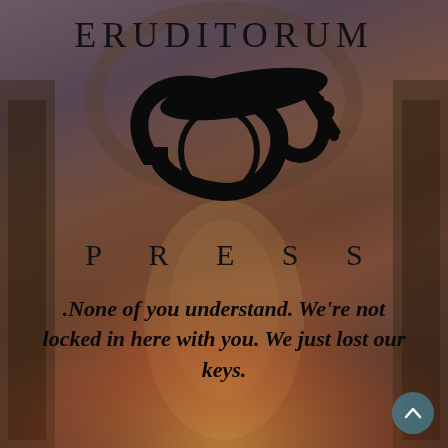ERUDITORUM
[Figure (logo): Eruditorum Press logo — stylized EP monogram with sweeping calligraphic strokes in black]
PRESS
.None of you understand. We're not locked in here with you. We just lost our keys.